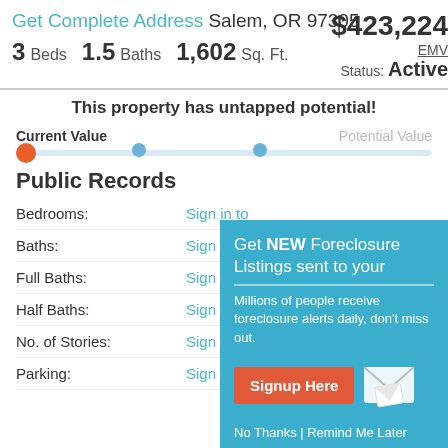Get Complete Address Salem, OR 97305  $423,224 EMV  Status: Active
3 Beds  1.5 Baths  1,602 Sq. Ft.
This property has untapped potential!
Current Value   Potential Value
[Figure (infographic): A horizontal slider/progress bar with an orange filled circle on the left (current value marker) and two blue dots further right, on a light blue track, indicating current vs potential value range.]
Public Records
Bedrooms:   Sign in to view
Baths:   Sign in to view
Full Baths:   Sign in to view
Half Baths:   Sign in to view
No. of Stories:   Sign in to view
Parking:   Sign in to view
[Figure (infographic): Teal popup overlay: 'Get NEW Foreclosure Listings sent to your [inbox]'. Subtitle: 'Millions of people receive foreclosure alerts daily, don't miss out.' Button: 'Signup Here'. Footer: 'No Thanks | Remind Me Later'. Envelope icon on right.]